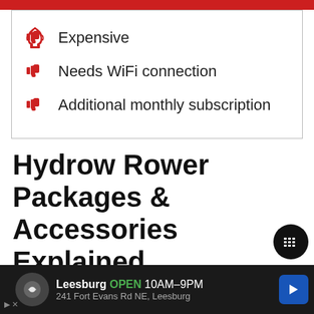Expensive
Needs WiFi connection
Additional monthly subscription
Hydrow Rower Packages & Accessories Explained
Hydrow has created packages of accessories to help give you everything you need for the best workout. These packages can be expensive but will sa...